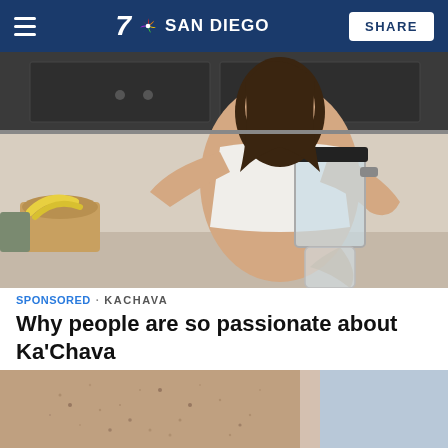7 NBC San Diego — SHARE
[Figure (photo): Woman in white crop top pouring a smoothie from a blender jar into a glass bottle in a modern kitchen with bananas and fruit visible in the background.]
SPONSORED · KACHAVA
Why people are so passionate about Ka'Chava
[Figure (photo): Close-up of skin on an arm or leg with a light-colored fabric or surface visible, suggesting a dermatology or health-related advertisement.]